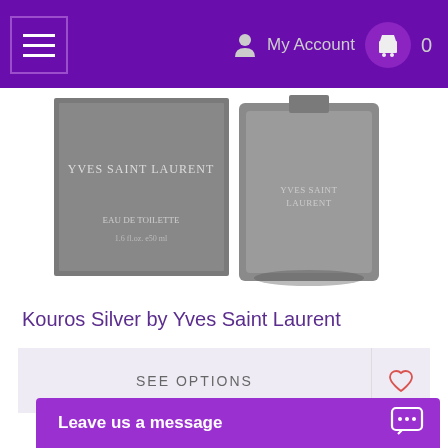My Account  0
[Figure (photo): Yves Saint Laurent Kouros Silver product photo showing box and bottle side by side, grey/silver tones, labelled EAU DE TOILETTE 50ml]
Kouros Silver by Yves Saint Laurent
SEE OPTIONS
[Figure (photo): Partial view of another fragrance product at the bottom of the page]
Leave us a message